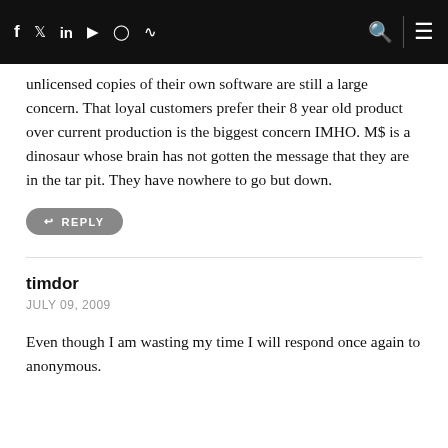f  twitter  in  youtube  instagram  rss  [search] [menu]
unlicensed copies of their own software are still a large concern. That loyal customers prefer their 8 year old product over current production is the biggest concern IMHO. M$ is a dinosaur whose brain has not gotten the message that they are in the tar pit. They have nowhere to go but down.
↩ REPLY
timdor
JULY 09, 2009
Even though I am wasting my time I will respond once again to anonymous.